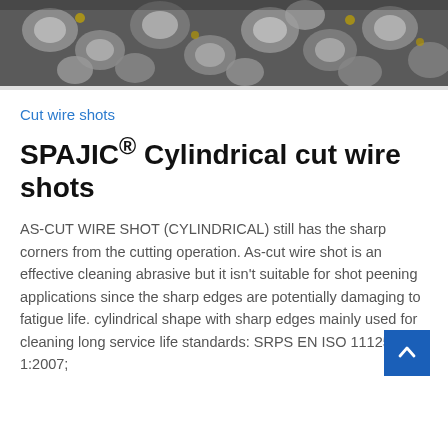[Figure (photo): Close-up photograph of metallic cut wire shots (cylindrical), showing silver-colored metal pieces with sharp edges and irregular shapes.]
Cut wire shots
SPAJIC® Cylindrical cut wire shots
AS-CUT WIRE SHOT (CYLINDRICAL) still has the sharp corners from the cutting operation. As-cut wire shot is an effective cleaning abrasive but it isn't suitable for shot peening applications since the sharp edges are potentially damaging to fatigue life. cylindrical shape with sharp edges mainly used for cleaning long service life standards: SRPS EN ISO 11125-1:2007;